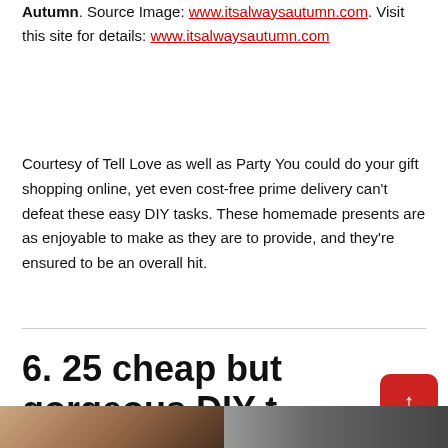Autumn. Source Image: www.itsalwaysautumn.com. Visit this site for details: www.itsalwaysautumn.com
Courtesy of Tell Love as well as Party You could do your gift shopping online, yet even cost-free prime delivery can't defeat these easy DIY tasks. These homemade presents are as enjoyable to make as they are to provide, and they're ensured to be an overall hit.
6. 25 cheap but gorgeous DIY t ideas It s Always Autumn
[Figure (photo): Bottom portion of page showing two side-by-side photos partially visible — left shows warm tan/brown tones, right shows darker tones.]